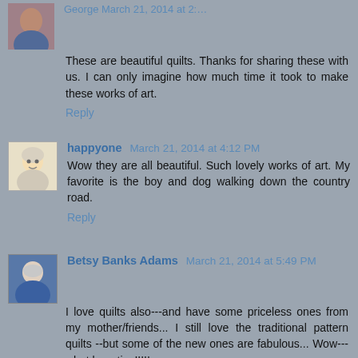[Figure (photo): Avatar photo of a person at top of page, partially visible]
These are beautiful quilts. Thanks for sharing these with us. I can only imagine how much time it took to make these works of art.
Reply
[Figure (illustration): Avatar icon of happyone commenter - cartoon face with white/grey hair]
happyone  March 21, 2014 at 4:12 PM
Wow they are all beautiful. Such lovely works of art. My favorite is the boy and dog walking down the country road.
Reply
[Figure (photo): Avatar photo of Betsy Banks Adams - person in blue jacket]
Betsy Banks Adams  March 21, 2014 at 5:49 PM
I love quilts also---and have some priceless ones from my mother/friends... I still love the traditional pattern quilts --but some of the new ones are fabulous... Wow---what beauties!!!!!
Glad you had a nice trip --away from the snow!!!
Hugs,